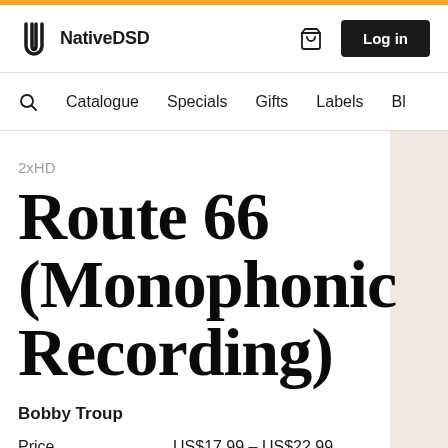NativeDSD
Catalogue  Specials  Gifts  Labels  Bl
2xHD
Route 66 (Monophonic Recording)
Bobby Troup
Price   US$17.99 – US$22.99